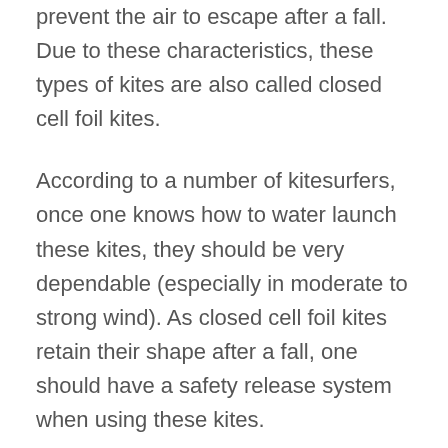prevent the air to escape after a fall. Due to these characteristics, these types of kites are also called closed cell foil kites.
According to a number of kitesurfers, once one knows how to water launch these kites, they should be very dependable (especially in moderate to strong wind). As closed cell foil kites retain their shape after a fall, one should have a safety release system when using these kites.
Concept Air was the first company to introduce a foil kite incorporating a system allowing the kitesurfer to control the power of the kite by pulling on the third line to change the shape of